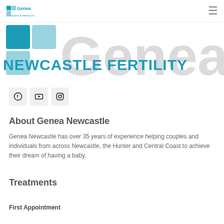Genea Newcastle Fertility
[Figure (logo): Genea Newcastle Fertility large logo banner with teal/blue text and grey watermark]
[Figure (infographic): Social media icons: Facebook, YouTube, Instagram]
About Genea Newcastle
Genea Newcastle has over 35 years of experience helping couples and individuals from across Newcastle, the Hunter and Central Coast to achieve their dream of having a baby.
Treatments
First Appointment